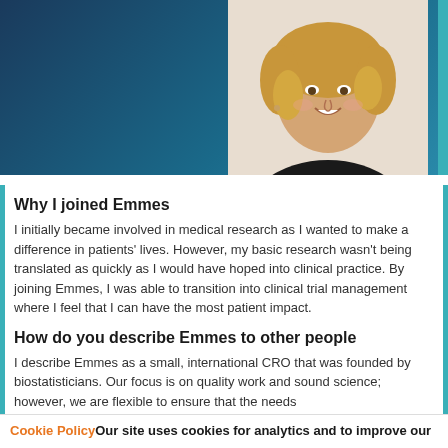[Figure (photo): Header background with dark teal/navy gradient on left side and a photo of a smiling woman with blonde hair wearing a black top on the right side]
Why I joined Emmes
I initially became involved in medical research as I wanted to make a difference in patients' lives. However, my basic research wasn't being translated as quickly as I would have hoped into clinical practice. By joining Emmes, I was able to transition into clinical trial management where I feel that I can have the most patient impact.
How do you describe Emmes to other people
I describe Emmes as a small, international CRO that was founded by biostatisticians. Our focus is on quality work and sound science; however, we are flexible to ensure that the needs
Cookie Policy Our site uses cookies for analytics and to improve our